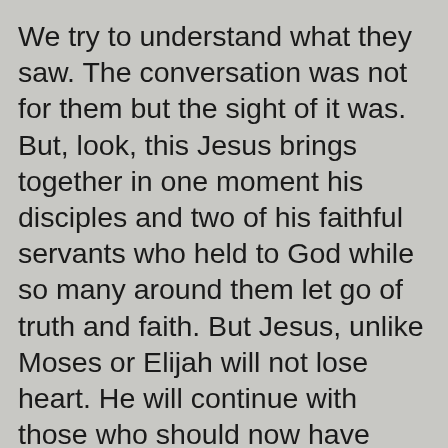We try to understand what they saw. The conversation was not for them but the sight of it was. But, look, this Jesus brings together in one moment his disciples and two of his faithful servants who held to God while so many around them let go of truth and faith. But Jesus, unlike Moses or Elijah will not lose heart. He will continue with those who should now have faith. He will succeed where all other men have failed. He will do all the will of God. The Son of Man will bear all things as a man for all men. He will speak to the one on all things...